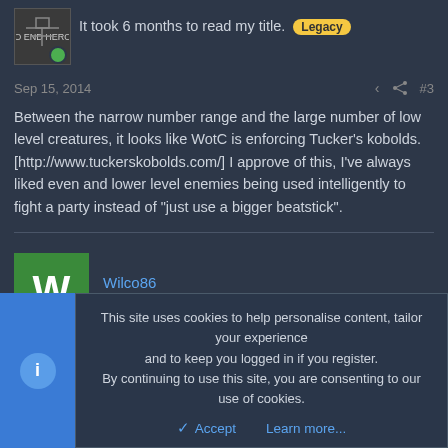It took 6 months to read my title. Legacy
Sep 15, 2014   #3
Between the narrow number range and the large number of low level creatures, it looks like WotC is enforcing Tucker's kobolds. [http://www.tuckerskobolds.com/] I approve of this, I've always liked even and lower level enemies being used intelligently to fight a party instead of "just use a bigger beatstick".
Wilco86
New member
This site uses cookies to help personalise content, tailor your experience and to keep you logged in if you register.
By continuing to use this site, you are consenting to our use of cookies.
Accept    Learn more...